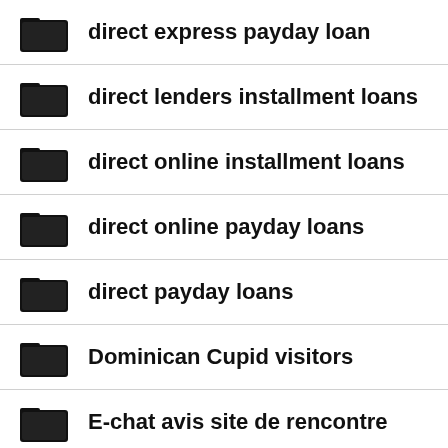direct express payday loan
direct lenders installment loans
direct online installment loans
direct online payday loans
direct payday loans
Dominican Cupid visitors
E-chat avis site de rencontre
easy approval installment loans